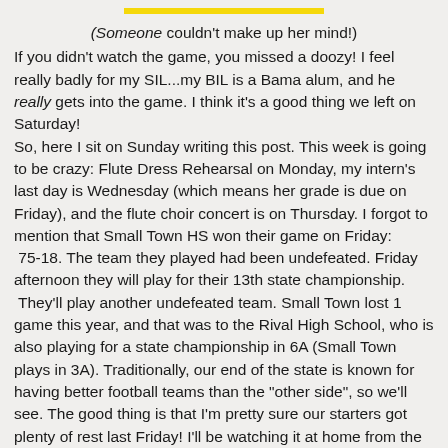(Someone couldn't make up her mind!) If you didn't watch the game, you missed a doozy!  I feel really badly for my SIL...my BIL is a Bama alum, and he really gets into the game.  I think it's a good thing we left on Saturday! So, here I sit on Sunday writing this post.  This week is going to be crazy:  Flute Dress Rehearsal on Monday, my intern's last day is Wednesday (which means her grade is due on Friday), and the flute choir concert is on Thursday.  I forgot to mention that Small Town HS won their game on Friday:  75-18.  The team they played had been undefeated.  Friday afternoon they will play for their 13th state championship.  They'll play another undefeated team.  Small Town lost 1 game this year, and that was to the Rival High School, who is also playing for a state championship in 6A (Small Town plays in 3A).  Traditionally, our end of the state is known for having better football teams than the "other side", so we'll see.  The good thing is that I'm pretty sure our starters got plenty of rest last Friday!  I'll be watching it at home from the comfort of my couch. I'll probably start decorating for Christmas next weekend.